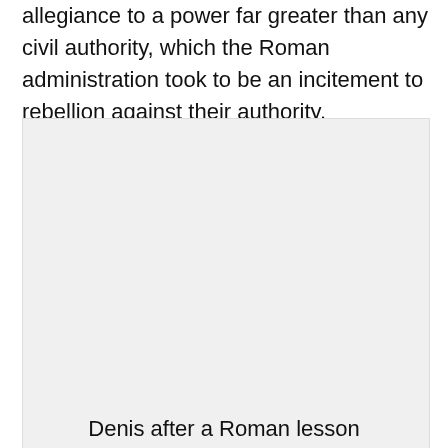allegiance to a power far greater than any civil authority, which the Roman administration took to be an incitement to rebellion against their authority.
[Figure (photo): A large light gray rectangular image placeholder occupying most of the lower portion of the page.]
Denis after a Roman lesson